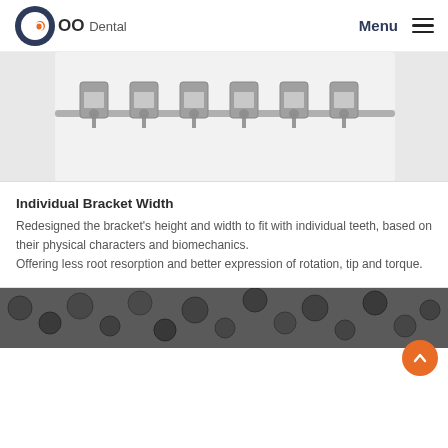OO Dental — Menu
[Figure (photo): Close-up black and white photograph of orthodontic brackets mounted on a wire, showing metal dental braces components]
Individual Bracket Width
Redesigned the bracket's height and width to fit with individual teeth, based on their physical characters and biomechanics. Offering less root resorption and better expression of rotation, tip and torque.
[Figure (photo): Black and white close-up photograph of multiple small dark round objects, possibly metal brackets or dental components]